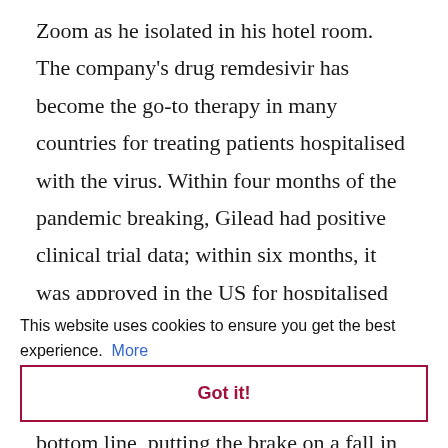Zoom as he isolated in his hotel room. The company's drug remdesivir has become the go-to therapy in many countries for treating patients hospitalised with the virus. Within four months of the pandemic breaking, Gilead had positive clinical trial data; within six months, it was approved in the US for hospitalised patients.
This website uses cookies to ensure you get the best experience.  More
Got it!
bottom line, putting the brake on a fall in